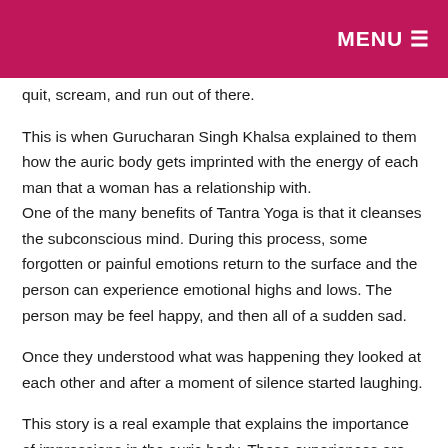MENU ☰
quit, scream, and run out of there.
This is when Gurucharan Singh Khalsa explained to them how the auric body gets imprinted with the energy of each man that a woman has a relationship with.
One of the many benefits of Tantra Yoga is that it cleanses the subconscious mind. During this process, some forgotten or painful emotions return to the surface and the person can experience emotional highs and lows. The person may be feel happy, and then all of a sudden sad.
Once they understood what was happening they looked at each other and after a moment of silence started laughing.
This story is a real example that explains the importance of impressions in the auric body. These experiences are not always